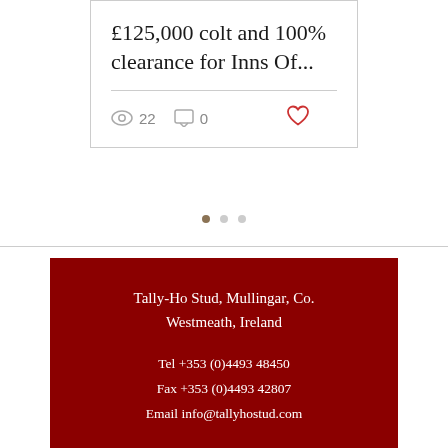£125,000 colt and 100% clearance for Inns Of...
22 views  0 comments
[Figure (other): Pagination dots: one active (brownish), two inactive (light grey)]
Tally-Ho Stud, Mullingar, Co. Westmeath, Ireland
Tel +353 (0)4493 48450
Fax +353 (0)4493 42807
Email info@tallyhostud.com
[Figure (other): White Facebook and Twitter social media icons on dark red background]